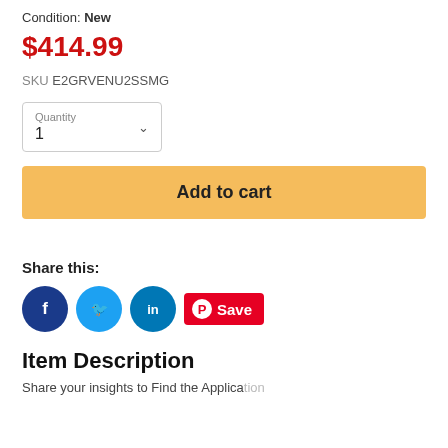Condition: New
$414.99
SKU E2GRVENU2SSMG
Quantity
1
Add to cart
Share this:
[Figure (infographic): Social sharing icons: Facebook (dark blue circle with F), Twitter (light blue circle with bird), LinkedIn (blue circle with in), and a Pinterest Save button (red pill with P icon and Save text)]
Item Description
Share your insights to Find the Application